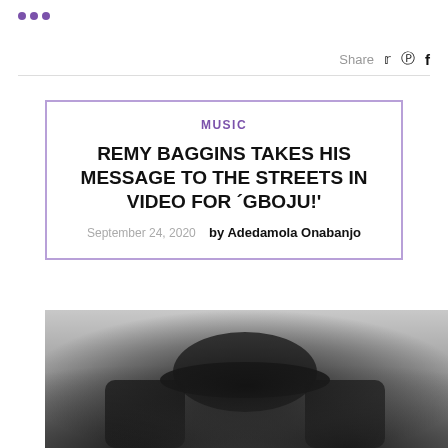•••
Share
MUSIC
REMY BAGGINS TAKES HIS MESSAGE TO THE STREETS IN VIDEO FOR 'GBOJU!'
September 24, 2020   by Adedamola Onabanjo
[Figure (photo): Grayscale photo of a person in a bucket hat with hands raised making gestures, shot from below against a light background]